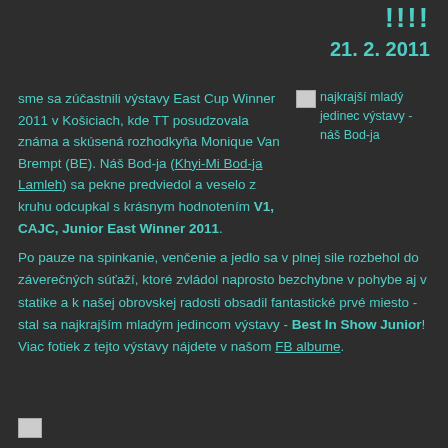!!!!
21. 2. 2011
sme sa zúčastnili výstavy East Cup Winner 2011 v Košiciach, kde TT posudzovala známa a skúsená rozhodkyňa Monique Van Brempt (BE). Náš Bod-ja (Khyi-Mi Bod-ja Lamleh) sa pekne predviedol a veselo z kruhu odcupkal s krásnym hodnotením V1, CAJC, Junior East Winner 2011. Po pauze na spinkanie, venčenie a jedlo sa v plnej sile rozbehol do záverečných súťaží, ktoré zvládol naprosto bezchybne v pohybe aj v statike a k našej obrovskej radosti obsadil fantastické prvé miesto - stal sa najkrajším mladým jedincom výstavy - Best In Show Junior! Viac fotiek z tejto výstavy nájdete v našom FB albume.
[Figure (photo): najkrajší mladý jedinec výstavy - náš Bod-ja]